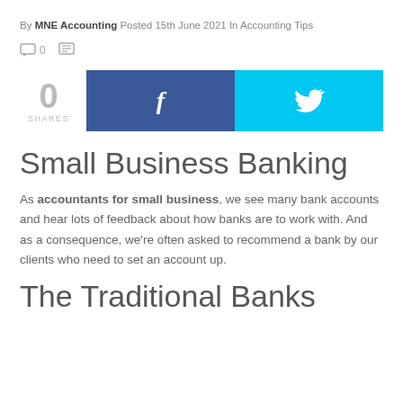By MNE Accounting Posted 15th June 2021 In Accounting Tips
0 [comment icon] [print icon]
[Figure (infographic): Share count showing 0 SHARES, with Facebook (blue) and Twitter (cyan) social share buttons]
Small Business Banking
As accountants for small business, we see many bank accounts and hear lots of feedback about how banks are to work with. And as a consequence, we’re often asked to recommend a bank by our clients who need to set an account up.
The Traditional Banks